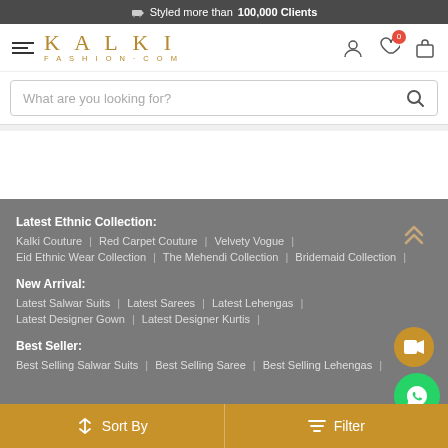🚚 Styled more than 100,000 Clients
[Figure (logo): Kalki Fashion.com logo with hamburger menu icon and icons for account, wishlist (0), and cart on the right]
What are you looking for?
Latest Ethnic Collection:
Kalki Couture | Red Carpet Couture | Velvety Vogue |
Eid Ethnic Wear Collection | The Mehendi Collection | Bridemaid Collection |
New Arrival:
Latest Salwar Suits | Latest Sarees | Latest Lehengas |
Latest Designer Gown | Latest Designer Kurtis |
Best Seller:
Best Selling Salwar Suits | Best Selling Saree | Best Selling Lehengas |
Sort By    Filter